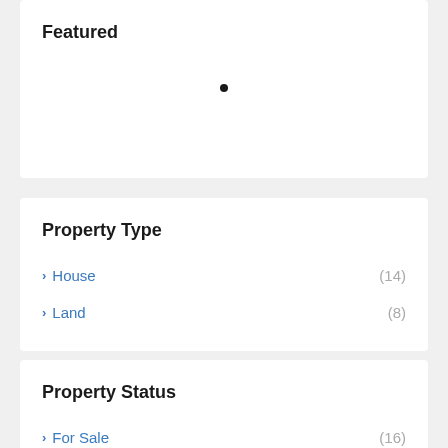Featured
House (14)
Land (8)
Property Type
Property Status
For Sale (16)